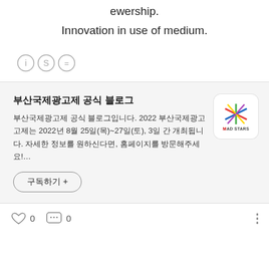ewership.
Innovation in use of medium.
[Figure (other): Three Creative Commons license icons in circles: CC BY, CC SA, CC ND]
부산국제광고제 공식 블로그
부산국제광고제 공식 블로그입니다. 2022 부산국제광고제는 2022년 8월 25일(목)~27일(토), 3일 간 개최됩니다. 자세한 정보를 원하신다면, 홈페이지를 방문해주세요!…
구독하기 +
0  0